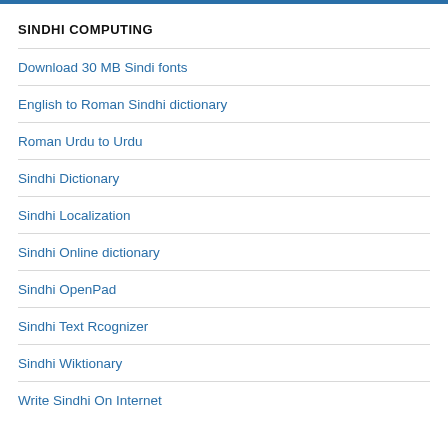SINDHI COMPUTING
Download 30 MB Sindi fonts
English to Roman Sindhi dictionary
Roman Urdu to Urdu
Sindhi Dictionary
Sindhi Localization
Sindhi Online dictionary
Sindhi OpenPad
Sindhi Text Rcognizer
Sindhi Wiktionary
Write Sindhi On Internet